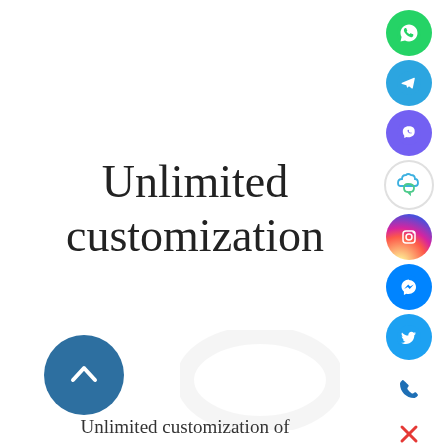Unlimited customization
[Figure (illustration): Up/chevron button - dark blue circular button with upward chevron arrow icon]
[Figure (illustration): Faint ghost circular watermark in background]
Unlimited customization of
[Figure (infographic): Sidebar with social media icons: WhatsApp (green), Telegram (blue), Viber (purple), cloud chat (blue/green), Instagram (gradient), Messenger (blue), Twitter (blue), phone (blue), close X (red)]